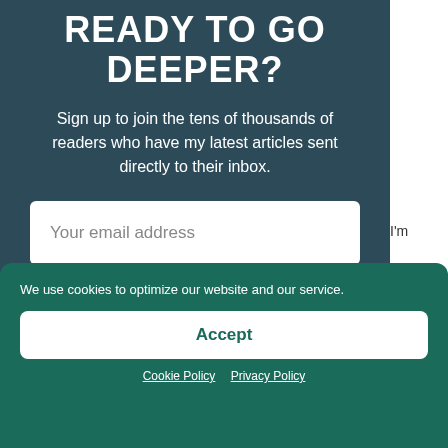READY TO GO DEEPER?
Sign up to join the tens of thousands of readers who have my latest articles sent directly to their inbox.
Your email address
Subscribe
I'm
(a)
We use cookies to optimize our website and our service.
Accept
Cookie Policy   Privacy Policy